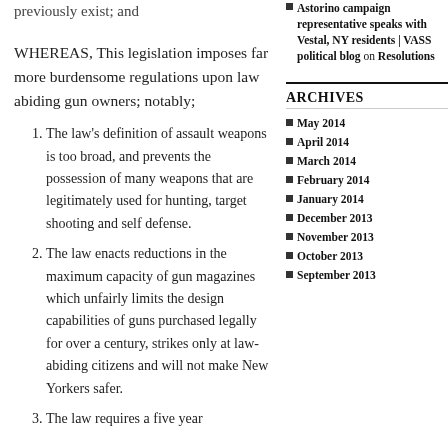previously exist; and
WHEREAS, This legislation imposes far more burdensome regulations upon law abiding gun owners; notably;
The law’s definition of assault weapons is too broad, and prevents the possession of many weapons that are legitimately used for hunting, target shooting and self defense.
The law enacts reductions in the maximum capacity of gun magazines which unfairly limits the design capabilities of guns purchased legally for over a century, strikes only at law-abiding citizens and will not make New Yorkers safer.
The law requires a five year
Astorino campaign representative speaks with Vestal, NY residents | VASS political blog on Resolutions
ARCHIVES
May 2014
April 2014
March 2014
February 2014
January 2014
December 2013
November 2013
October 2013
September 2013